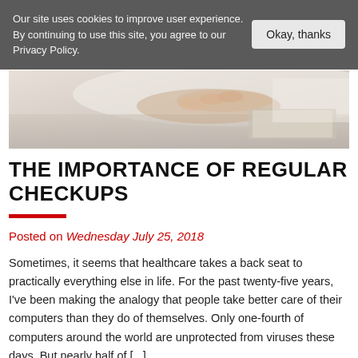Our site uses cookies to improve user experience. By continuing to use this site, you agree to our Privacy Policy. [Okay, thanks]
[Figure (photo): Partial view of a person's hands near a book or keyboard on a desk, soft focus]
THE IMPORTANCE OF REGULAR CHECKUPS
Posted on Wednesday July 25, 2018
Sometimes, it seems that healthcare takes a back seat to practically everything else in life. For the past twenty-five years, I've been making the analogy that people take better care of their computers than they do of themselves. Only one-fourth of computers around the world are unprotected from viruses these days. But nearly half of [...]